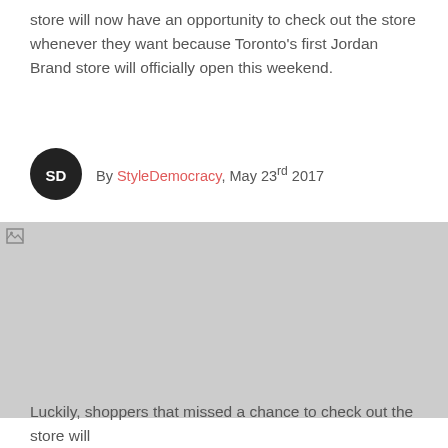store will now have an opportunity to check out the store whenever they want because Toronto's first Jordan Brand store will officially open this weekend.
By StyleDemocracy, May 23rd 2017
[Figure (photo): Broken/missing image placeholder (gray rectangle with broken image icon)]
Luckily, shoppers that missed a chance to check out the store will